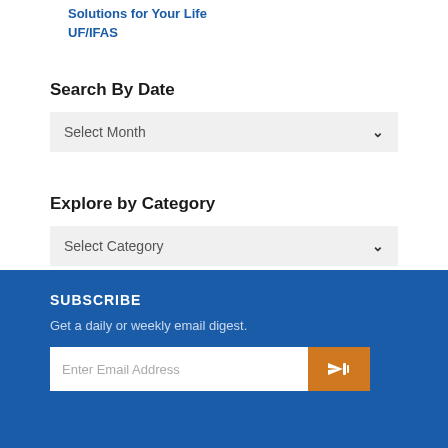Solutions for Your Life
UF/IFAS
Search By Date
Select Month
Explore by Category
Select Category
SUBSCRIBE
Get a daily or weekly email digest.
Enter Email Address